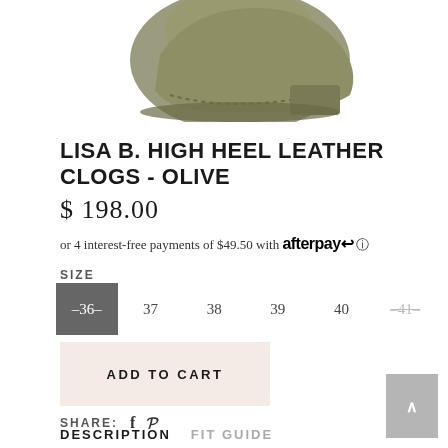[Figure (photo): Olive-colored high heel leather clog shoe, partially visible at top of page]
LISA B. HIGH HEEL LEATHER CLOGS - OLIVE
$ 198.00
or 4 interest-free payments of $49.50 with afterpay ℹ
SIZE
36  37  38  39  40  41
ADD TO CART
SHARE:  f  𝓟
DESCRIPTION  FIT GUIDE